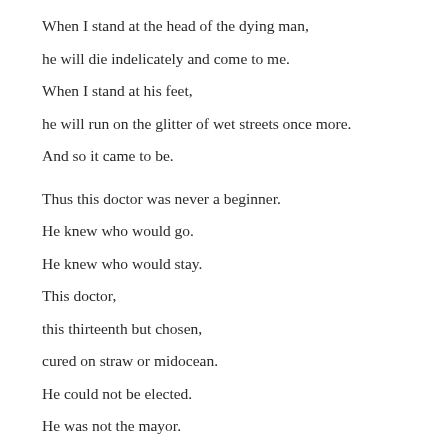When I stand at the head of the dying man,
he will die indelicately and come to me.
When I stand at his feet,
he will run on the glitter of wet streets once more.
And so it came to be.

Thus this doctor was never a beginner.
He knew who would go.
He knew who would stay.
This doctor,
this thirteenth but chosen,
cured on straw or midocean.
He could not be elected.
He was not the mayor.
He was more famous than the king.
He peddled his fingernails for gold
while the lepers turned into princes.

His wisdom
outnumbered him.